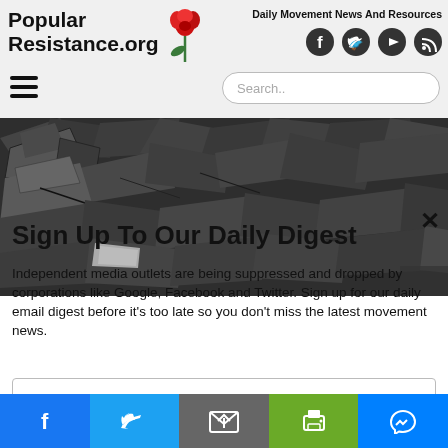Popular Resistance.org — Daily Movement News And Resources
[Figure (screenshot): Website header with Popular Resistance.org logo (red rose), social media icons (Facebook, Twitter, YouTube, RSS), hamburger menu, and search box]
[Figure (photo): Close-up photo of damaged or broken dark roofing shingles]
Sign Up To Our Daily Digest
Independent media outlets are being suppressed and dropped by corporations like Google, Facebook and Twitter. Sign up for our daily email digest before it’s too late so you don’t miss the latest movement news.
[Figure (other): Email input field with placeholder 'Email' and red submit button]
Social share buttons: Facebook, Twitter, Email, Print, Messenger